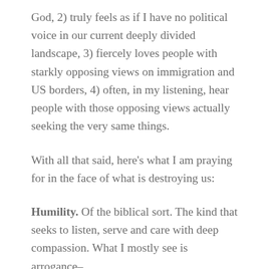God, 2) truly feels as if I have no political voice in our current deeply divided landscape, 3) fiercely loves people with starkly opposing views on immigration and US borders, 4) often, in my listening, hear people with those opposing views actually seeking the very same things.
With all that said, here's what I am praying for in the face of what is destroying us:
Humility. Of the biblical sort. The kind that seeks to listen, serve and care with deep compassion. What I mostly see is arrogance–